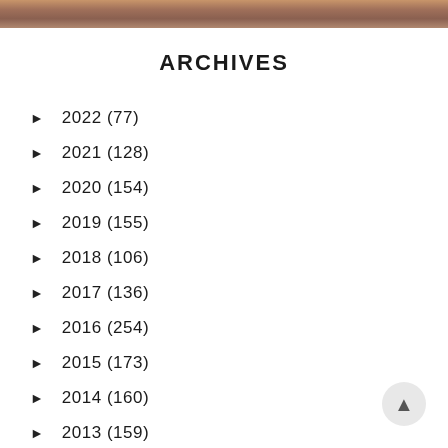[Figure (photo): Partial photo strip at the top of the page showing warm-toned image (people or animals)]
ARCHIVES
► 2022 (77)
► 2021 (128)
► 2020 (154)
► 2019 (155)
► 2018 (106)
► 2017 (136)
► 2016 (254)
► 2015 (173)
► 2014 (160)
► 2013 (159)